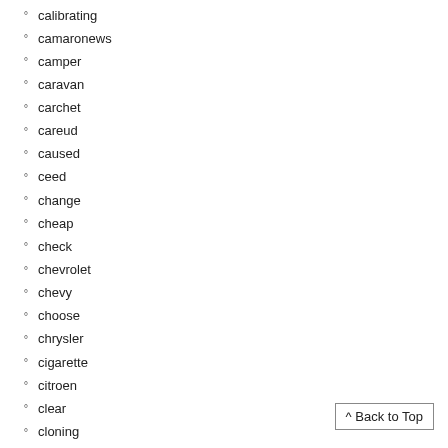calibrating
camaronews
camper
caravan
carchet
careud
caused
ceed
change
cheap
check
chevrolet
chevy
choose
chrysler
cigarette
citroen
clear
cloning
cm5t-1a180-aa
color
common
como
comparison
complete
^ Back to Top